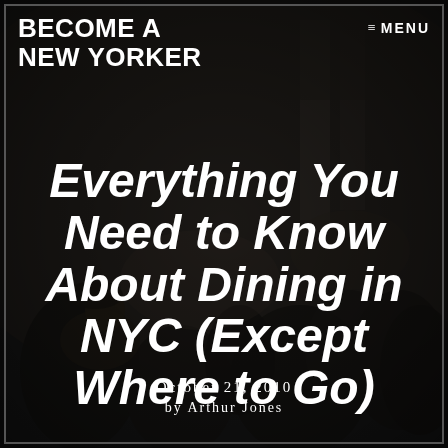BECOME A NEW YORKER
MENU
Everything You Need to Know About Dining in NYC (Except Where to Go)
October 21, 2010
by Arthur Jones